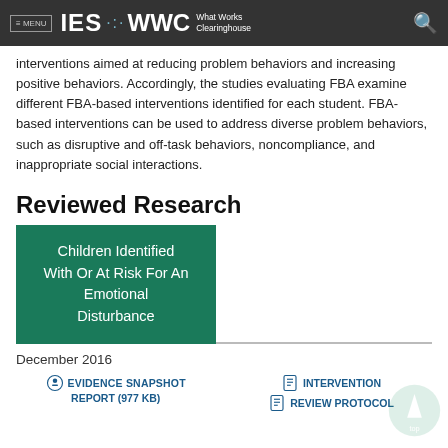≡ MENU  IES ·· WWC  What Works Clearinghouse
interventions aimed at reducing problem behaviors and increasing positive behaviors. Accordingly, the studies evaluating FBA examine different FBA-based interventions identified for each student. FBA-based interventions can be used to address diverse problem behaviors, such as disruptive and off-task behaviors, noncompliance, and inappropriate social interactions.
Reviewed Research
Children Identified With Or At Risk For An Emotional Disturbance
December 2016
📷 EVIDENCE SNAPSHOT REPORT (977 KB)   📄 INTERVENTION REPORT   📋 REVIEW PROTOCOL